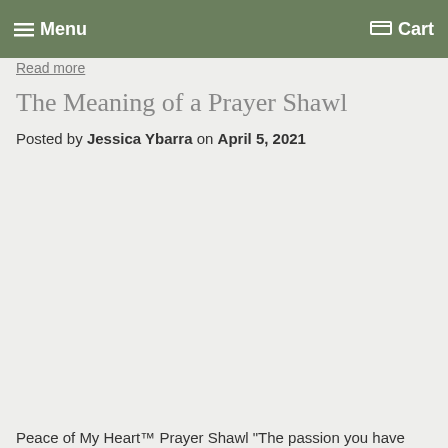Menu  Cart
Read more
The Meaning of a Prayer Shawl
Posted by Jessica Ybarra on April 5, 2021
Peace of My Heart™ Prayer Shawl "The passion you have